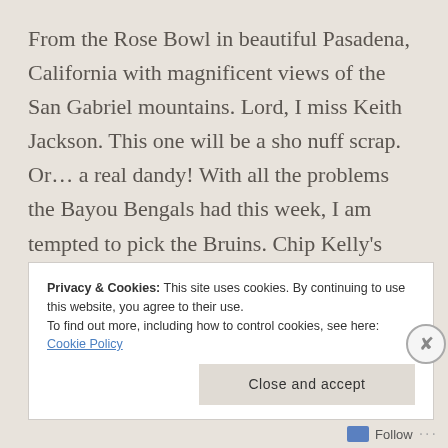From the Rose Bowl in beautiful Pasadena, California with magnificent views of the San Gabriel mountains. Lord, I miss Keith Jackson. This one will be a sho nuff scrap. Or… a real dandy! With all the problems the Bayou Bengals had this week, I am tempted to pick the Bruins. Chip Kelly's boys looked good against Hawaii last week. But it was Hawaii. Beast of a different ilk this week. Tigers prevail. LSU 31, UCLA 30.
Privacy & Cookies: This site uses cookies. By continuing to use this website, you agree to their use. To find out more, including how to control cookies, see here: Cookie Policy
Close and accept
Follow